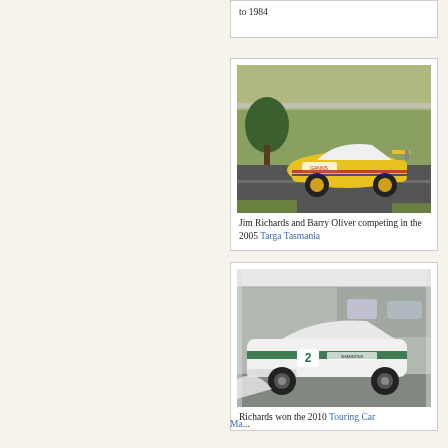to 1984
[Figure (photo): Jim Richards and Barry Oliver competing in the 2005 Targa Tasmania - yellow and white Porsche race car on track with spectators in background]
Jim Richards and Barry Oliver competing in the 2005 Targa Tasmania
[Figure (photo): Richards won the 2010 Touring Car Masters at the wheel of a 1964 Ford Falcon - white and green classic racing car number 2 displayed under a tent/marquee]
Richards won the 2010 Touring Car Masters at the wheel of a 1964 Ford Fal...